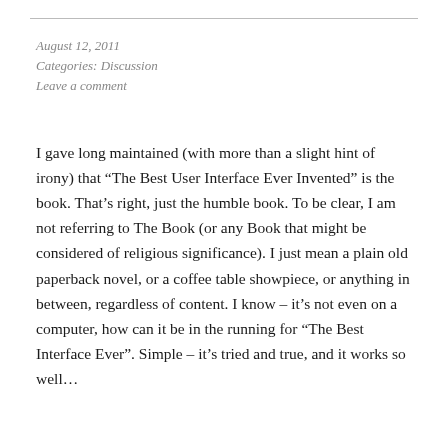August 12, 2011
Categories: Discussion
Leave a comment
I gave long maintained (with more than a slight hint of irony) that “The Best User Interface Ever Invented” is the book. That’s right, just the humble book. To be clear, I am not referring to The Book (or any Book that might be considered of religious significance). I just mean a plain old paperback novel, or a coffee table showpiece, or anything in between, regardless of content. I know – it’s not even on a computer, how can it be in the running for “The Best Interface Ever”. Simple – it’s tried and true, and it works so well…